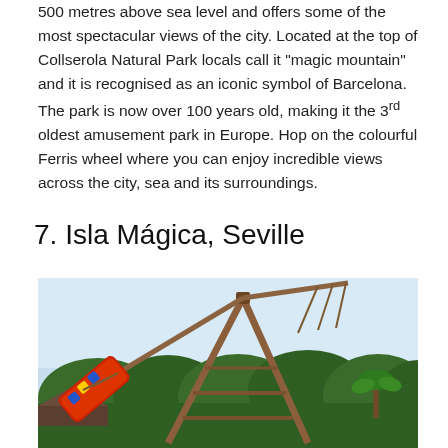500 metres above sea level and offers some of the most spectacular views of the city. Located at the top of Collserola Natural Park locals call it "magic mountain" and it is recognised as an iconic symbol of Barcelona. The park is now over 100 years old, making it the 3rd oldest amusement park in Europe. Hop on the colourful Ferris wheel where you can enjoy incredible views across the city, sea and its surroundings.
7. Isla Mágica, Seville
[Figure (photo): Photo of a large pendulum-swing ride at Isla Mágica amusement park in Seville. The ride features a wooden A-frame tower structure with a colorful gondola swung to one side. Lush green trees and a clear light blue sky are visible in the background.]